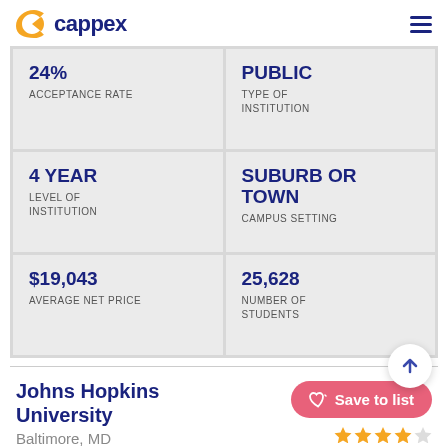cappex
24% ACCEPTANCE RATE
PUBLIC TYPE OF INSTITUTION
4 YEAR LEVEL OF INSTITUTION
SUBURB OR TOWN CAMPUS SETTING
$19,043 AVERAGE NET PRICE
25,628 NUMBER OF STUDENTS
Johns Hopkins University
Baltimore, MD
Save to list